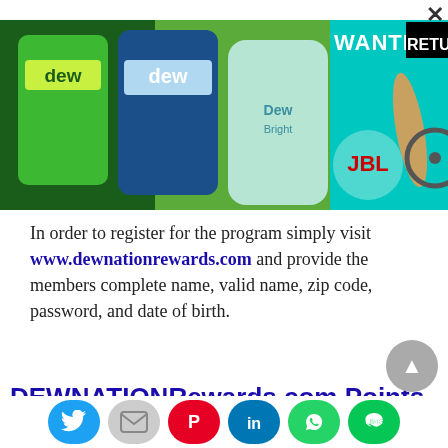[Figure (photo): Mountain Dew promotional banner showing Dew cans and bottles on the left, and a teal/cyan background on the right with text 'WANTED RETURN' and prize items including a surfboard, JBL speaker, and fat-tire bicycle. A close (X) button appears in the top right.]
In order to register for the program simply visit www.dewnationrewards.com and provide the members complete name, valid name, zip code, password, and date of birth.
DEWNATIONRewards.com Points
[Figure (infographic): Social sharing buttons row: Twitter (blue bird), Email (gray envelope), Pinterest (red P), LinkedIn (blue in), WhatsApp (green phone), Line (green chat). Plus a gray scroll-to-top arrow button.]